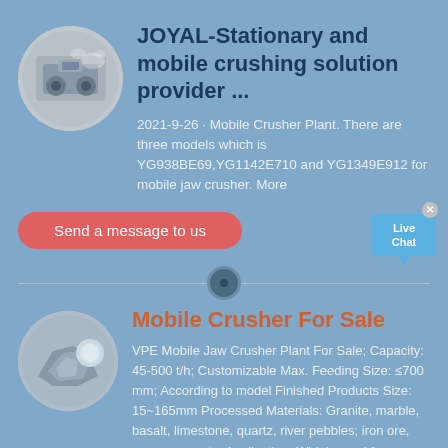[Figure (photo): Oval thumbnail image of a stone crushing machine/quarry operation]
JOYAL-Stationary and mobile crushing solution provider ...
2021-9-26 · Mobile Crusher Plant. There are three models which is YG938E69,YG1142E710 and YG1349E912 for mobile jaw crusher. More
[Figure (illustration): Red rounded button labeled 'Send a message to us']
[Figure (illustration): Live Chat speech bubble widget with close X button]
[Figure (illustration): Oval thumbnail image of crushed stone/minerals]
Mobile Crusher For Sale
VPE Mobile Jaw Crusher Plant For Sale; Capacity: 45-500 t/h; Customizable Max. Feeding Size: ≤700 mm; According to model Finished Products Size: 15~165mm Processed Materials: Granite, marble, basalt, limestone, quartz, river pebbles, iron ore, copper ore; etc. Application: Widely used for medium-sized crushing of ore and bulk materials in mining, metallurgy, construction, road,